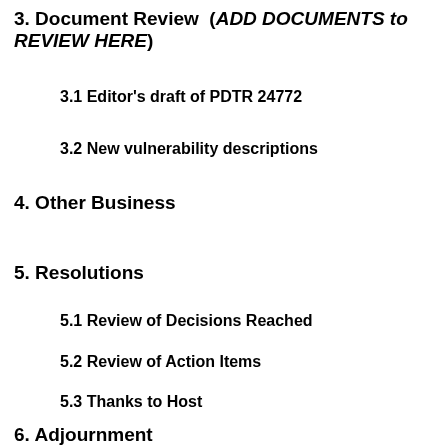3. Document Review (ADD DOCUMENTS to REVIEW HERE)
3.1 Editor's draft of PDTR 24772
3.2 New vulnerability descriptions
4. Other Business
5. Resolutions
5.1 Review of Decisions Reached
5.2 Review of Action Items
5.3 Thanks to Host
6. Adjournment